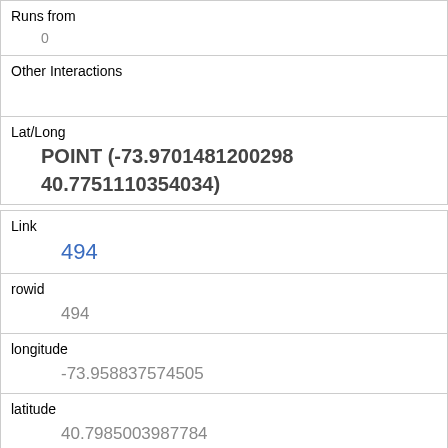| Runs from | 0 |
| Other Interactions |  |
| Lat/Long | POINT (-73.9701481200298 40.7751110354034) |
| Link | 494 |
| rowid | 494 |
| longitude | -73.958837574505 |
| latitude | 40.7985003987784 |
| Unique Squirrel ID | 40A-PM-1014-06 |
| Hectare | 40A |
| Shift |  |